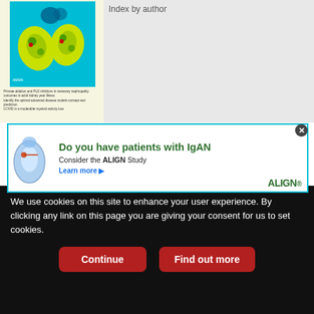[Figure (screenshot): Journal article preview with colorized kidney/lung scan images on teal background, small article text below]
Index by author
[Figure (illustration): Advertisement banner: Do you have patients with IgAN? Consider the ALIGN Study. Learn more. ALIGN logo with kidney illustration.]
View S...
Print
Download PDF
Sign up for Alerts
Email Article
Citation Tools
Request Permissions
Share
Tweet
Like 0
We use cookies on this site to enhance your user experience. By clicking any link on this page you are giving your consent for us to set cookies.
Continue
Find out more